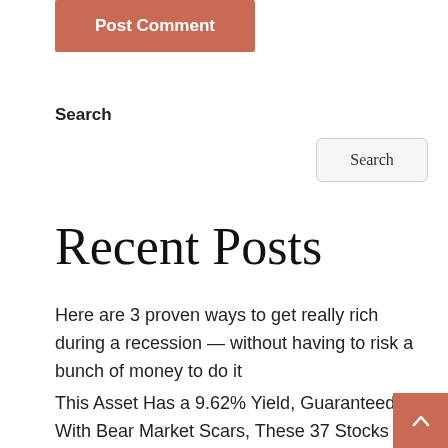[Figure (other): Post Comment button with salmon/terracotta background color]
Search
[Figure (other): Search button with light gray background and rounded border]
Recent Posts
Here are 3 proven ways to get really rich during a recession — without having to risk a bunch of money to do it
This Asset Has a 9.62% Yield, Guaranteed
With Bear Market Scars, These 37 Stocks Expec… 111% To 762% Growth